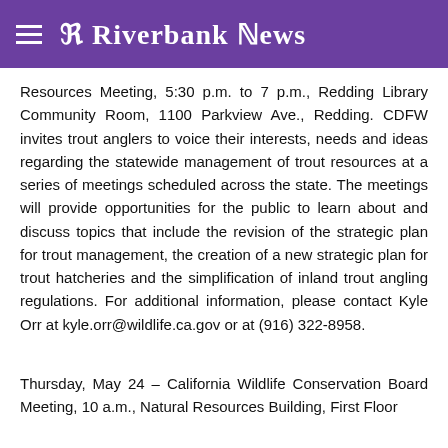R Riverbank News
Resources Meeting, 5:30 p.m. to 7 p.m., Redding Library Community Room, 1100 Parkview Ave., Redding. CDFW invites trout anglers to voice their interests, needs and ideas regarding the statewide management of trout resources at a series of meetings scheduled across the state. The meetings will provide opportunities for the public to learn about and discuss topics that include the revision of the strategic plan for trout management, the creation of a new strategic plan for trout hatcheries and the simplification of inland trout angling regulations. For additional information, please contact Kyle Orr at kyle.orr@wildlife.ca.gov or at (916) 322-8958.
Thursday, May 24 – California Wildlife Conservation Board Meeting, 10 a.m., Natural Resources Building, First Floor